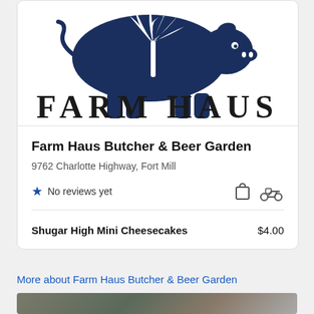[Figure (logo): Farm Haus logo: dark navy blue silhouette of a pig with a South Carolina palmetto tree and crescent moon design on it, with 'FARM HAUS' text in large serif capitals below]
Farm Haus Butcher & Beer Garden
9762 Charlotte Highway, Fort Mill
No reviews yet
Shugar High Mini Cheesecakes  $4.00
More about Farm Haus Butcher & Beer Garden
[Figure (photo): Partial view of food dish photo at bottom of page]